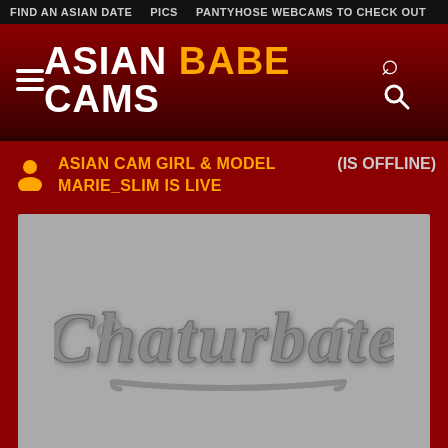FIND AN ASIAN DATE   PICS   PANTYHOSE WEBCAMS TO CHECK OUT
ASIAN BABE CAMS
ASIAN CAM GIRL & MODEL MARIE_SLIM IS LIVE (IS OFFLINE)
[Figure (screenshot): Offline webcam placeholder showing Chaturbate logo on grey background]